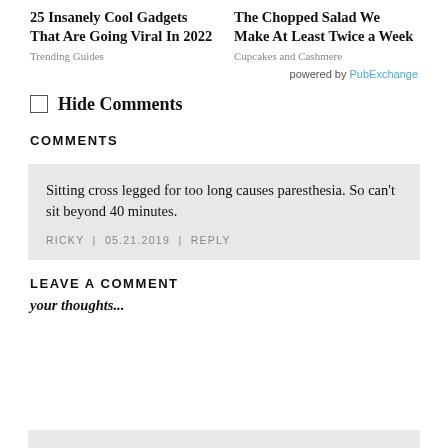25 Insanely Cool Gadgets That Are Going Viral In 2022
Trending Guides
The Chopped Salad We Make At Least Twice a Week
Cupcakes and Cashmere
powered by PubExchange
Hide Comments
COMMENTS
Sitting cross legged for too long causes paresthesia. So can't sit beyond 40 minutes.
RICKY | 05.21.2019 | REPLY
LEAVE A COMMENT
your thoughts...